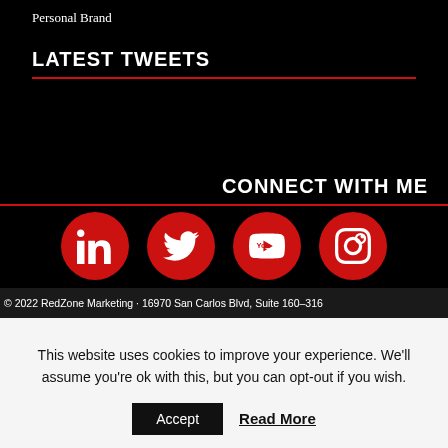Personal Brand
LATEST TWEETS
CONNECT WITH ME
[Figure (infographic): Four red circular social media icons: LinkedIn, Twitter, YouTube, Instagram]
© 2022 RedZone Marketing · 16970 San Carlos Blvd, Suite 160–316
This website uses cookies to improve your experience. We'll assume you're ok with this, but you can opt-out if you wish.
Accept   Read More